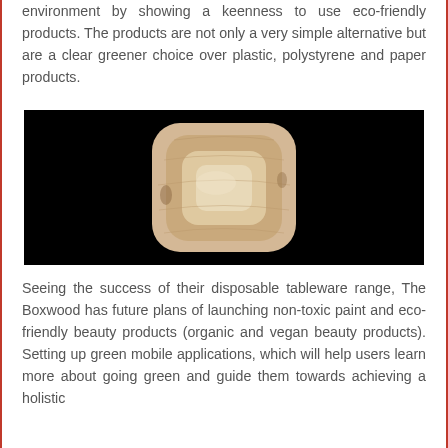environment by showing a keenness to use eco-friendly products. The products are not only a very simple alternative but are a clear greener choice over plastic, polystyrene and paper products.
[Figure (photo): A square palm leaf bowl/plate photographed against a black background. The bowl is light tan/beige in color with a rounded square shape and visible natural fiber texture.]
Seeing the success of their disposable tableware range, The Boxwood has future plans of launching non-toxic paint and eco-friendly beauty products (organic and vegan beauty products). Setting up green mobile applications, which will help users learn more about going green and guide them towards achieving a holistic